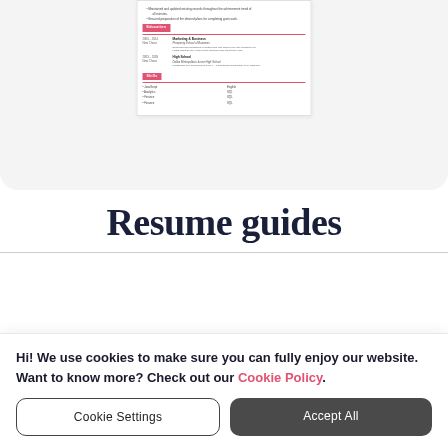[Figure (screenshot): A resume document preview showing Education section with Marketing & Business at Prosperity School of Business, High School at Dallas Metropolitan Junior High School, and a Skills section with items like JavaScript, English, Analytics, SQL, Finance, SQL.]
Resume guides
Hi! We use cookies to make sure you can fully enjoy our website. Want to know more? Check out our Cookie Policy.
Cookie Settings
Accept All